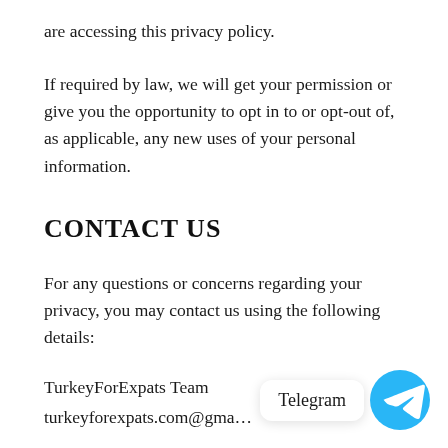are accessing this privacy policy.
If required by law, we will get your permission or give you the opportunity to opt in to or opt-out of, as applicable, any new uses of your personal information.
CONTACT US
For any questions or concerns regarding your privacy, you may contact us using the following details:
TurkeyForExpats Team
turkeyforexpats.com@gma…
[Figure (other): Telegram chat button overlay with label 'Telegram' and Telegram logo icon (blue circle with white paper airplane)]